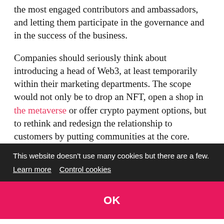the most engaged contributors and ambassadors, and letting them participate in the governance and in the success of the business.
Companies should seriously think about introducing a head of Web3, at least temporarily within their marketing departments. The scope would not only be to drop an NFT, open a shop in the metaverse or offer crypto payment options, but to rethink and redesign the relationship to customers by putting communities at the core.
Web3 opens a whole new world of possibilities for marketers to create, grow and reward not consumers, but communities. I'm sure we'll also be happy to see
This website doesn't use many cookies but there are a few. Learn more  Control cookies
OK